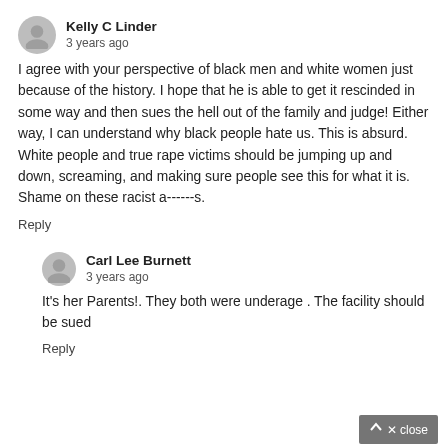Kelly C Linder
3 years ago
I agree with your perspective of black men and white women just because of the history. I hope that he is able to get it rescinded in some way and then sues the hell out of the family and judge! Either way, I can understand why black people hate us. This is absurd. White people and true rape victims should be jumping up and down, screaming, and making sure people see this for what it is. Shame on these racist a------s.
Reply
Carl Lee Burnett
3 years ago
It's her Parents!. They both were underage . The facility should be sued
Reply